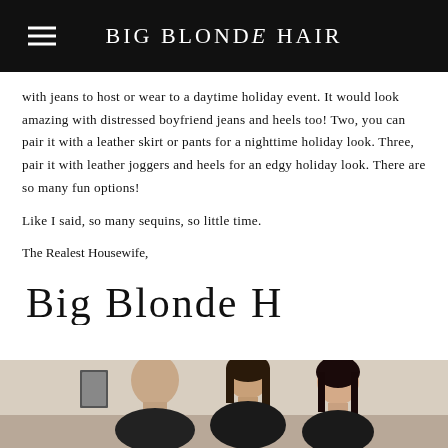BIG BLONDE HAIR
with jeans to host or wear to a daytime holiday event. It would look amazing with distressed boyfriend jeans and heels too! Two, you can pair it with a leather skirt or pants for a nighttime holiday look. Three, pair it with leather joggers and heels for an edgy holiday look. There are so many fun options!
Like I said, so many sequins, so little time.
The Realest Housewife,
[Figure (illustration): Handwritten cursive signature reading 'Big Blonde Hair']
[Figure (photo): Photo of people, partially visible at bottom of page — a bald man and two women]